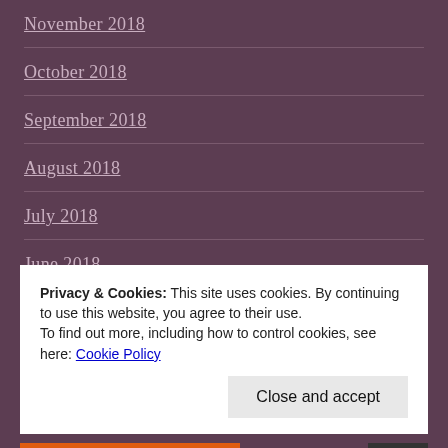November 2018
October 2018
September 2018
August 2018
July 2018
June 2018
May 2018
Privacy & Cookies: This site uses cookies. By continuing to use this website, you agree to their use.
To find out more, including how to control cookies, see here: Cookie Policy
Close and accept